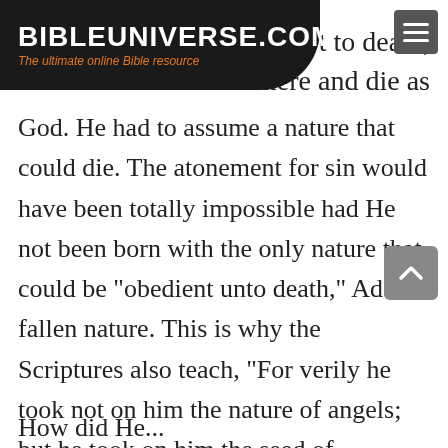BIBLEUNIVERSE.COM — The ultimate online Bible resource
to death, live here and die as God. He had to assume a nature that could die. The atonement for sin would have been totally impossible had He not been born with the only nature that could be "obedient unto death," Adam's fallen nature. This is why the Scriptures also teach, "For verily he took not on him the nature of angels; but he took on him the seed of Abraham" (Hebrews 2: 16).
How did He...